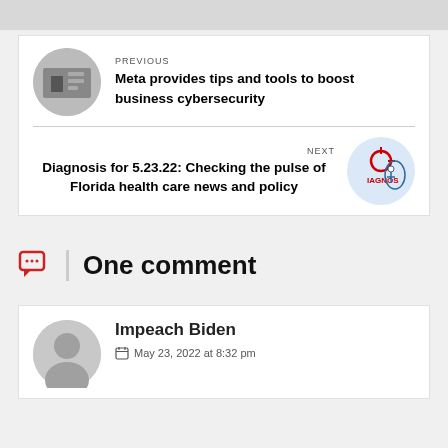[Figure (screenshot): Top gray bar area]
PREVIOUS
Meta provides tips and tools to boost business cybersecurity
NEXT
Diagnosis for 5.23.22: Checking the pulse of Florida health care news and policy
One comment
Impeach Biden
May 23, 2022 at 8:32 pm